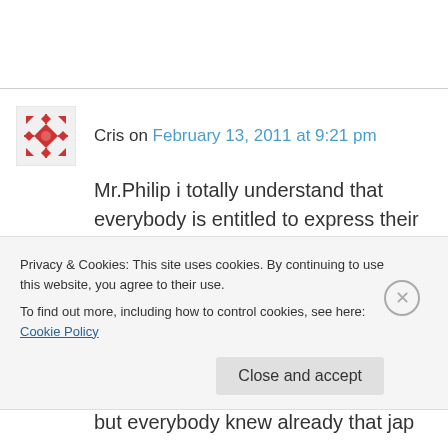Cris on February 13, 2011 at 9:21 pm
Mr.Philip i totally understand that everybody is entitled to express their opinion but don't you think you've been too harsh?
You make some good points in your art but you don't need to be a genius to see what it is k-industry strategy in J-market,not trying to offend anybody but everybody knew already that jap
Privacy & Cookies: This site uses cookies. By continuing to use this website, you agree to their use.
To find out more, including how to control cookies, see here: Cookie Policy
Close and accept